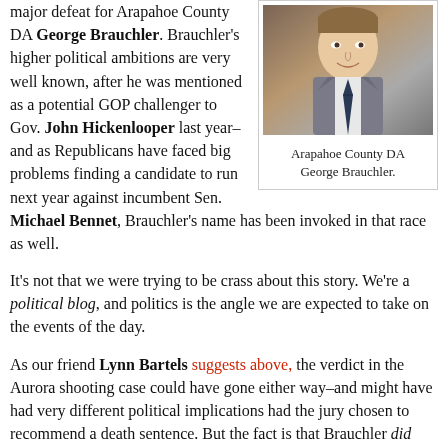major defeat for Arapahoe County DA George Brauchler. Brauchler's higher political ambitions are very well known, after he was mentioned as a potential GOP challenger to Gov. John Hickenlooper last year–and as Republicans have faced big problems finding a candidate to run next year against incumbent Sen. Michael Bennet, Brauchler's name has been invoked in that race as well.
[Figure (photo): Portrait photo of Arapahoe County DA George Brauchler, a man in a gray suit with a dark tie, smiling.]
Arapahoe County DA George Brauchler.
It's not that we were trying to be crass about this story. We're a political blog, and politics is the angle we are expected to take on the events of the day.
As our friend Lynn Bartels suggests above, the verdict in the Aurora shooting case could have gone either way–and might have had very different political implications had the jury chosen to recommend a death sentence. But the fact is that Brauchler did pursue the death penalty despite an offer from the defense of an uncontested sentence of life in prison with no possibility of release–and that unsuccessful pursuit of death for the Aurora theater shooter extended the pain and expense of the process by over a year and millions of dollars.
This trial should have never happened. Defense